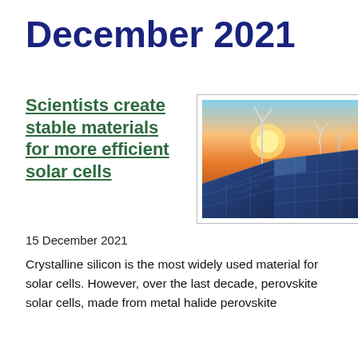December 2021
Scientists create stable materials for more efficient solar cells
[Figure (photo): Solar panels in a field with wind turbines in the background at sunset]
15 December 2021
Crystalline silicon is the most widely used material for solar cells. However, over the last decade, perovskite solar cells, made from metal halide perovskite materials, have become a promising technology and